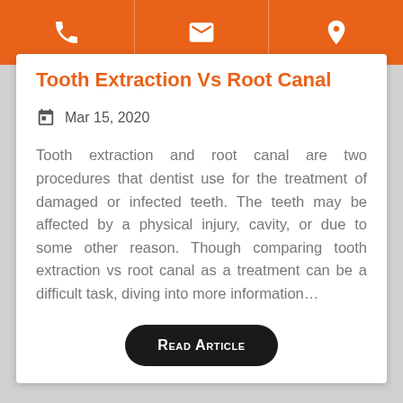[phone icon] [email icon] [location icon]
Tooth Extraction Vs Root Canal
Mar 15, 2020
Tooth extraction and root canal are two procedures that dentist use for the treatment of damaged or infected teeth. The teeth may be affected by a physical injury, cavity, or due to some other reason. Though comparing tooth extraction vs root canal as a treatment can be a difficult task, diving into more information…
Read Article